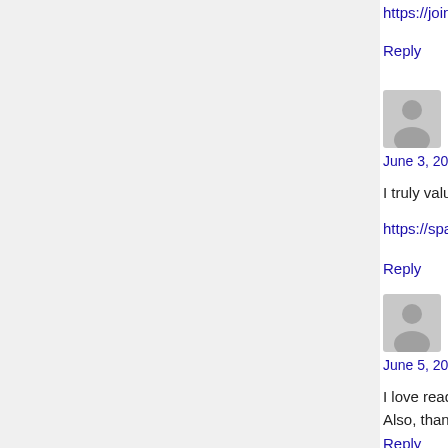https://joiner.co/PZ7VO
Reply
situs judi online says:
June 3, 2021 at 10:24 pm
I truly value your piece of work, Great post.
https://spark.adobe.com/page/JSZHGMVtbuLG2...
Reply
game bài tiến lên miền nam says:
June 5, 2021 at 4:40 am
I love reading a post that can make people think Also, thank you for permitting me to comment!
Reply
click here says:
June 6, 2021 at 11:24 am
Unquestionably believe that which you stated. Y simplest thing to be aware of. I say to you, I cert plainly don't know about. You managed to hit the...